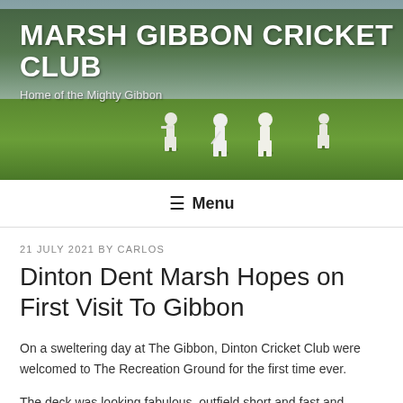[Figure (photo): Cricket match at The Gibbon recreation ground with players in white on a green field, trees in background, overcast sky]
MARSH GIBBON CRICKET CLUB
Home of the Mighty Gibbon
≡ Menu
21 JULY 2021 BY CARLOS
Dinton Dent Marsh Hopes on First Visit To Gibbon
On a sweltering day at The Gibbon, Dinton Cricket Club were welcomed to The Recreation Ground for the first time ever.
The deck was looking fabulous, outfield short and fast and everyone wanted to bat first, even the solitary